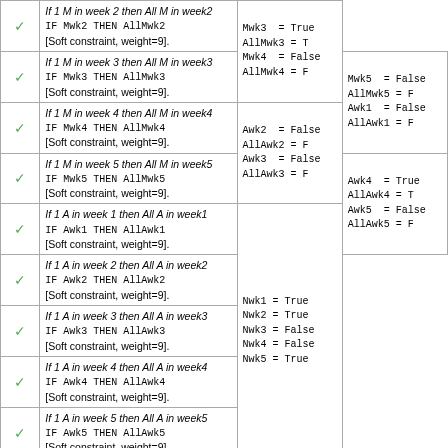|  | Constraint Description | Variable Values |
| --- | --- | --- |
| ✓ | If 1 M in week 2 then All M in week2
IF Mwk2 THEN AllMwk2
[Soft constraint, weight=9]. | Mwk3 = True
AllMwk3 = T
Mwk4 = False
AllMwk4 = F |
| ✓ | If 1 M in week 3 then All M in week3
IF Mwk3 THEN AllMwk3
[Soft constraint, weight=9]. | Mwk5 = False
AllMwk5 = F
Awk1 = False
AllAwk1 = F |
| ✓ | If 1 M in week 4 then All M in week4
IF Mwk4 THEN AllMwk4
[Soft constraint, weight=9]. | Awk2 = False
AllAwk2 = F
Awk3 = False
AllAwk3 = F |
| ✓ | If 1 M in week 5 then All M in week5
IF Mwk5 THEN AllMwk5
[Soft constraint, weight=9]. | Awk4 = True
AllAwk4 = T
Awk5 = False
AllAwk5 = F |
| ✓ | If 1 A in week 1 then All A in week1
IF Awk1 THEN AllAwk1
[Soft constraint, weight=9]. | Nwk1 = True
Nwk2 = True
Nwk3 = False
Nwk4 = False
Nwk5 = True |
| ✓ | If 1 A in week 2 then All A in week2
IF Awk2 THEN AllAwk2
[Soft constraint, weight=9]. |  |
| ✓ | If 1 A in week 3 then All A in week3
IF Awk3 THEN AllAwk3
[Soft constraint, weight=9]. |  |
| ✓ | If 1 A in week 4 then All A in week4
IF Awk4 THEN AllAwk4
[Soft constraint, weight=9]. |  |
| ✓ | If 1 A in week 5 then All A in week5
IF Awk5 THEN AllAwk5
[Soft constraint, weight=9]. |  |